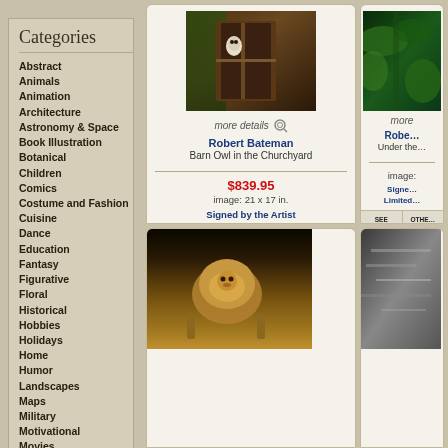Categories
Abstract
Animals
Animation
Architecture
Astronomy & Space
Book Illustration
Botanical
Children
Comics
Costume and Fashion
Cuisine
Dance
Education
Fantasy
Figurative
Floral
Historical
Hobbies
Holidays
Home
Humor
Landscapes
Maps
Military
Motivational
Movies
Music
People
[Figure (photo): Barn owl emerging from old wooden doorway/barn door, painting by Robert Bateman]
more details
Robert Bateman
Barn Owl in the Churchyard
$839.95
image: 21 x 17 in.
Signed by the Artist
Limited Edition of 950
SEE FRAMED | OTHER CHOICES | SEE DETAILS | ADD TO CART
[Figure (photo): Partial view of jungle/tropical foliage painting by Robert Bateman, title starting with 'Under the']
more
Robert Bateman
Under the
image:
Signed
Limited
SEE FRAMED | OTHER CHOICES
[Figure (photo): Lion standing in golden grass, wildlife painting]
[Figure (photo): Partial black and white or muted wildlife scene, partially visible]